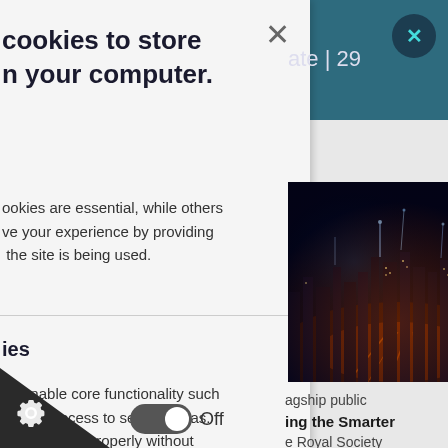[Figure (screenshot): Background website page showing a teal header, a city night skyline photo, and text about a flagship public event 'ing the Smarter' by the Royal Society. A blue circle close button is visible top-right.]
cookies to store on your computer.
ookies are essential, while others ve your experience by providing the site is being used.
ies
es enable core functionality such on and access to secure areas. not function properly without nd can only be disabled by rowser preferences.
agship public
ing the Smarter
e Royal Society
er.
ate | 29
Off